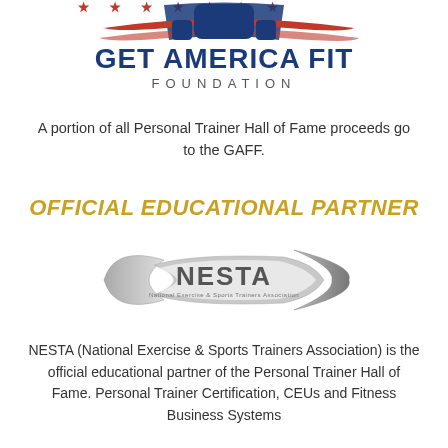[Figure (logo): Get America Fit Foundation logo with American flag motif, stars and stripes, dumbbell/arch shape, blue and red colors, text GET AMERICA FIT FOUNDATION]
A portion of all Personal Trainer Hall of Fame proceeds go to the GAFF.
OFFICIAL EDUCATIONAL PARTNER
[Figure (logo): NESTA logo - National Exercise & Sports Trainers Association, silver metallic swoosh design with NESTA text]
NESTA (National Exercise & Sports Trainers Association) is the official educational partner of the Personal Trainer Hall of Fame. Personal Trainer Certification, CEUs and Fitness Business Systems